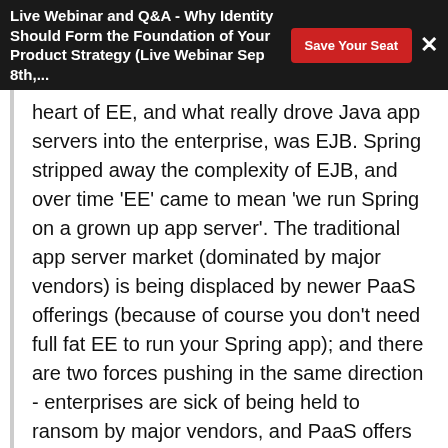Live Webinar and Q&A - Why Identity Should Form the Foundation of Your Product Strategy (Live Webinar Sep 8th,... Save Your Seat ×
heart of EE, and what really drove Java app servers into the enterprise, was EJB. Spring stripped away the complexity of EJB, and over time 'EE' came to mean 'we run Spring on a grown up app server'. The traditional app server market (dominated by major vendors) is being displaced by newer PaaS offerings (because of course you don't need full fat EE to run your Spring app); and there are two forces pushing in the same direction - enterprises are sick of being held to ransom by major vendors, and PaaS offers more contemporary operational capabilities.
Indeed as InfoQ has previously reported even Gartner, who typically track trends further along the